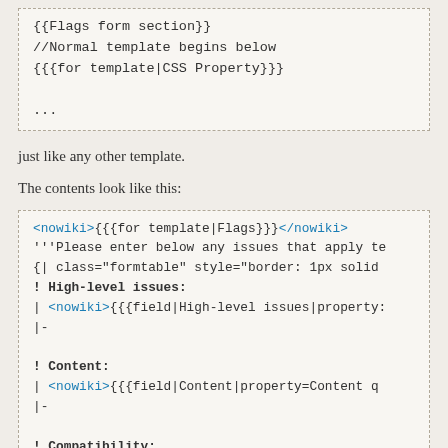{{Flags form section}}
//Normal template begins below
{{{for template|CSS Property}}}
...
just like any other template.
The contents look like this:
<nowiki>{{{for template|Flags}}}</nowiki>
'''Please enter below any issues that apply te
{| class="formtable" style="border: 1px solid
! High-level issues:
| <nowiki>{{{field|High-level issues|property:
|-
! Content:
| <nowiki>{{{field|Content|property=Content q
|-
! Compatibility:
| <nowiki>{{{field|Compatibility|property=Com
|-
! [...]